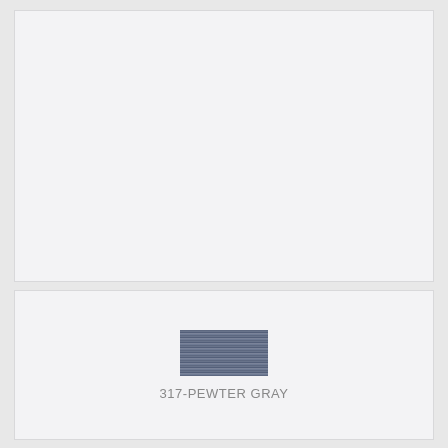[Figure (photo): Top card: blank white/light gray rectangular card area]
[Figure (photo): Thread color swatch showing pewter gray embroidery thread texture]
317-PEWTER GRAY